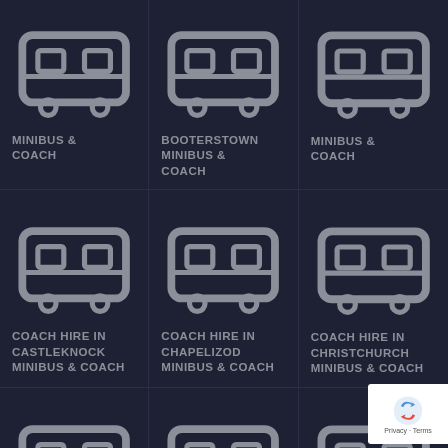COACH HIRE IN CASTLEKNOCK MINIBUS & COACH
COACH HIRE IN CHAPELIZOD MINIBUS & COACH
COACH HIRE IN CHRISTCHURCH MINIBUS & COACH
COACH HIRE IN CHURCHTOWN MINIBUS & COACH
COACH HIRE IN CITYWEST MINIBUS & COACH
COACH HIRE IN CLOGHRAN MINIBUS & COACH
COACH HIRE IN CLONDALKIN MINIBUS & COACH
COACH HIRE IN CLONSILLA MINIBUS & COACH
COACH HIRE IN CLONSKEAGH MINIBUS & COACH
COACH HIRE IN CLONTARF MINIBUS & COACH
COACH HIRE IN COOLOCK MINIBUS & COACH
COACH HIRE IN CRUMLIN MINIBUS & COACH
COACH HIRE IN DALKEY MINIBUS & COACH
COACH HIRE IN DEANSGRANGE MINIBUS & COACH
COACH HIRE IN DOCKLANDS MINIBUS & COACH